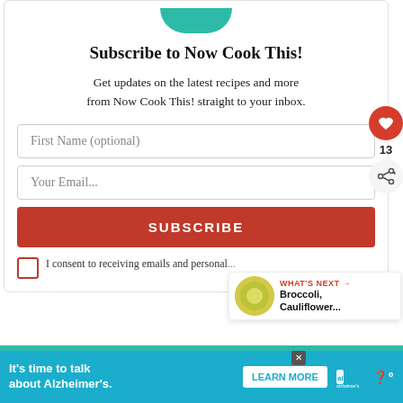[Figure (illustration): Teal/green arc shape at top, partial logo of Now Cook This]
Subscribe to Now Cook This!
Get updates on the latest recipes and more from Now Cook This! straight to your inbox.
First Name (optional)
Your Email...
SUBSCRIBE
I consent to receiving emails and personal...
13
WHAT'S NEXT →
Broccoli, Cauliflower...
It's time to talk about Alzheimer's.
LEARN MORE